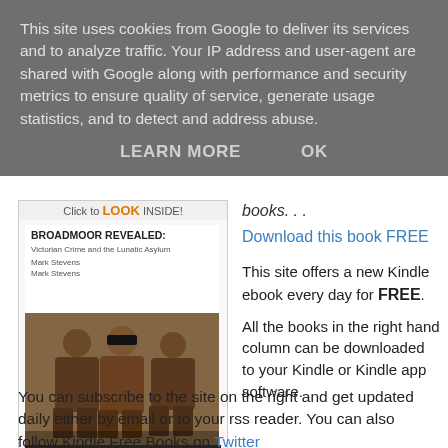This site uses cookies from Google to deliver its services and to analyze traffic. Your IP address and user-agent are shared with Google along with performance and security metrics to ensure quality of service, generate usage statistics, and to detect and address abuse.
LEARN MORE   OK
[Figure (photo): Book cover for 'Broadmoor Revealed: Victorian Crime and the Lunatic Asylum' Kindle edition, showing a sepia photograph of Victorian-era men, with 'Click to LOOK INSIDE!' badge]
books. . .
Download this book FREE
This site offers a new Kindle ebook every day for FREE.
All the books in the right hand column can be downloaded to your Kindle or Kindle app software.
You can subscribe to the site on the right and get updated daily either by email or to your rss reader. You can also follow Kindle Free Books on Twitter